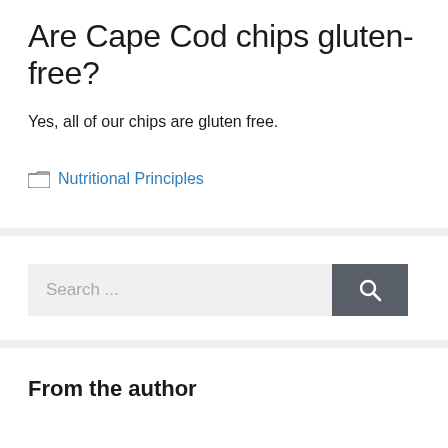Are Cape Cod chips gluten-free?
Yes, all of our chips are gluten free.
Nutritional Principles
Search ...
From the author